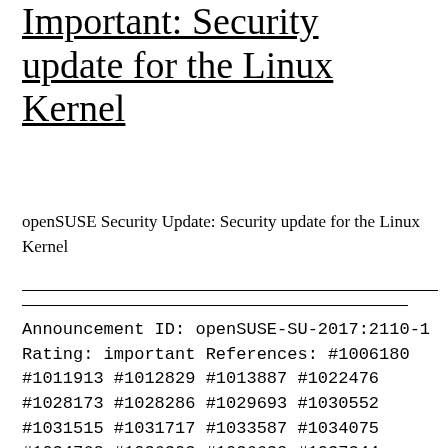Important: Security update for the Linux Kernel
openSUSE Security Update: Security update for the Linux Kernel
Announcement ID: openSUSE-SU-2017:2110-1 Rating: important References: #1006180 #1011913 #1012829 #1013887 #1022476 #1028173 #1028286 #1029693 #1030552 #1031515 #1031717 #1033587 #1034075 #1034762 #1036303 #1036632 #1037344